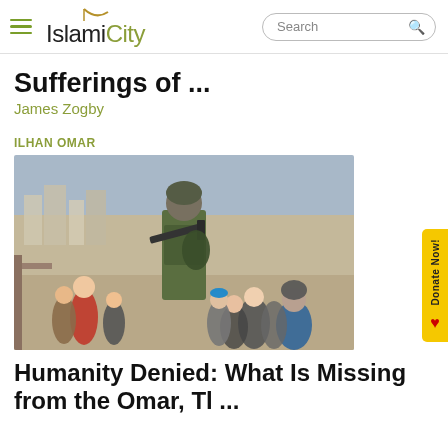IslamiCity | Search
Sufferings of ...
James Zogby
ILHAN OMAR
[Figure (photo): A soldier in military gear carrying a rifle stands elevated above a crowd of civilians, with a hilly urban landscape visible in the background.]
Humanity Denied: What Is Missing from the Omar, Tl ...